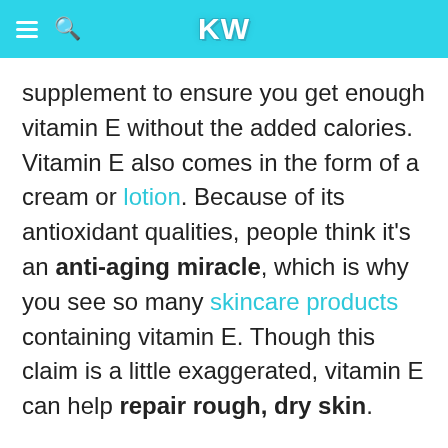KW
supplement to ensure you get enough vitamin E without the added calories. Vitamin E also comes in the form of a cream or lotion. Because of its antioxidant qualities, people think it's an anti-aging miracle, which is why you see so many skincare products containing vitamin E. Though this claim is a little exaggerated, vitamin E can help repair rough, dry skin.
Vitamin E - Did U Know?